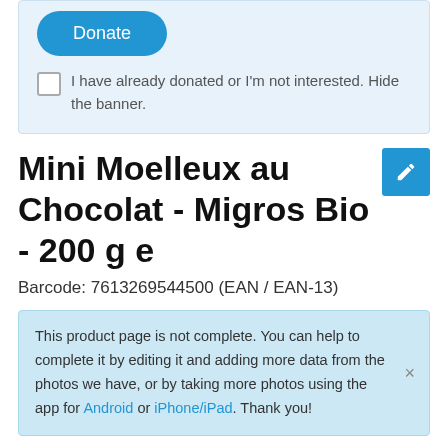[Figure (screenshot): Donate button (blue rounded rectangle) within a light blue donation banner section]
I have already donated or I'm not interested. Hide the banner.
Mini Moelleux au Chocolat - Migros Bio - 200 g e
Barcode: 7613269544500 (EAN / EAN-13)
This product page is not complete. You can help to complete it by editing it and adding more data from the photos we have, or by taking more photos using the app for Android or iPhone/iPad. Thank you!